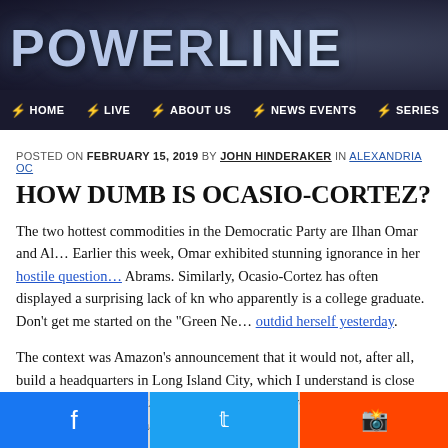POWERLINE
HOME | LIVE | ABOUT US | NEWS EVENTS | SERIES
POSTED ON FEBRUARY 15, 2019 BY JOHN HINDERAKER IN ALEXANDRIA OC
HOW DUMB IS OCASIO-CORTEZ?
The two hottest commodities in the Democratic Party are Ilhan Omar and Al... Earlier this week, Omar exhibited stunning ignorance in her hostile questions of Abrams. Similarly, Ocasio-Cortez has often displayed a surprising lack of kn who apparently is a college graduate. Don't get me started on the "Green Ne outdid herself yesterday.
The context was Amazon's announcement that it would not, after all, build a headquarters in Long Island City, which I understand is close to, but not with district. The project reportedly would have entailed 25,000 new jobs–norma.